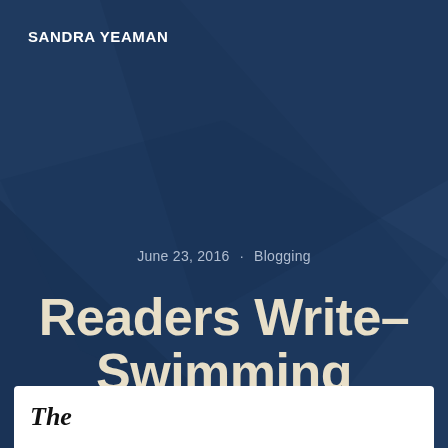SANDRA YEAMAN
June 23, 2016 · Blogging
Readers Write– Swimming
[Figure (illustration): Bottom strip showing partial view of a newspaper or magazine page with the word 'The' in a serif italic font, along with a partial illustration/photo.]